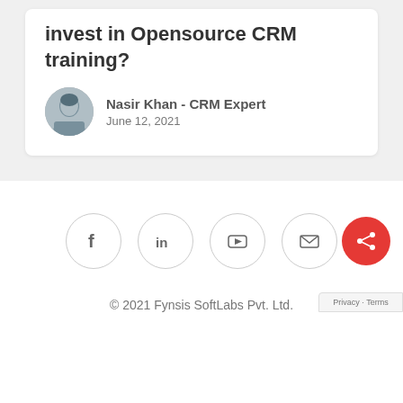Do you really need to invest in Opensource CRM training?
Nasir Khan - CRM Expert
June 12, 2021
[Figure (illustration): Four circular social media icon buttons: Facebook, LinkedIn, YouTube, and Email/envelope, with light grey outlines on white background]
© 2021 Fynsis SoftLabs Pvt. Ltd.
Privacy - Terms